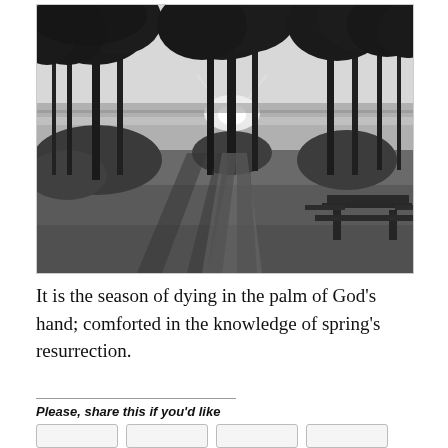[Figure (photo): Black and white photograph of a lakeside scene at sunset or sunrise. Silhouetted trees frame the view with sunlight glaring through the branches. A picnic table is visible to the right. Long shadows fall across a grass lawn leading toward the water.]
It is the season of dying in the palm of God’s hand; comforted in the knowledge of spring’s resurrection.
Please, share this if you’d like